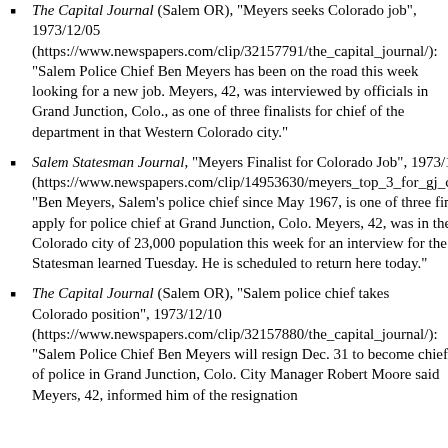The Capital Journal (Salem OR), "Meyers seeks Colorado job", 1973/12/05 (https://www.newspapers.com/clip/32157791/the_capital_journal/): "Salem Police Chief Ben Meyers has been on the road this week looking for a new job. Meyers, 42, was interviewed by officials in Grand Junction, Colo., as one of three finalists for chief of the department in that Western Colorado city."
Salem Statesman Journal, "Meyers Finalist for Colorado Job", 1973/12/05 (https://www.newspapers.com/clip/14953630/meyers_top_3_for_gj_chief_job/): "Ben Meyers, Salem's police chief since May 1967, is one of three finalists to apply for police chief at Grand Junction, Colo. Meyers, 42, was in the Eastern Colorado city of 23,000 population this week for an interview for the job, The Statesman learned Tuesday. He is scheduled to return here today."
The Capital Journal (Salem OR), "Salem police chief takes Colorado position", 1973/12/10 (https://www.newspapers.com/clip/32157880/the_capital_journal/): "Salem Police Chief Ben Meyers will resign Dec. 31 to become chief of police in Grand Junction, Colo. City Manager Robert Moore said Meyers, 42, informed him of the resignation